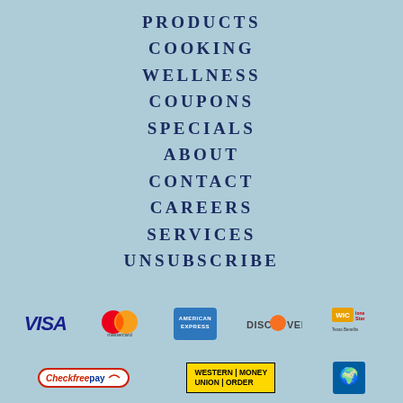PRODUCTS
COOKING
WELLNESS
COUPONS
SPECIALS
ABOUT
CONTACT
CAREERS
SERVICES
UNSUBSCRIBE
[Figure (logo): Payment method logos row 1: VISA, Mastercard, American Express, Discover, WIC LoneStar]
[Figure (logo): Payment method logos row 2: CheckFreePay, Western Union Money Order, United Way]